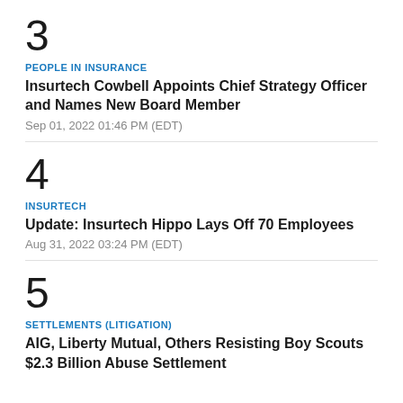3
PEOPLE IN INSURANCE
Insurtech Cowbell Appoints Chief Strategy Officer and Names New Board Member
Sep 01, 2022 01:46 PM (EDT)
4
INSURTECH
Update: Insurtech Hippo Lays Off 70 Employees
Aug 31, 2022 03:24 PM (EDT)
5
SETTLEMENTS (LITIGATION)
AIG, Liberty Mutual, Others Resisting Boy Scouts $2.3 Billion Abuse Settlement